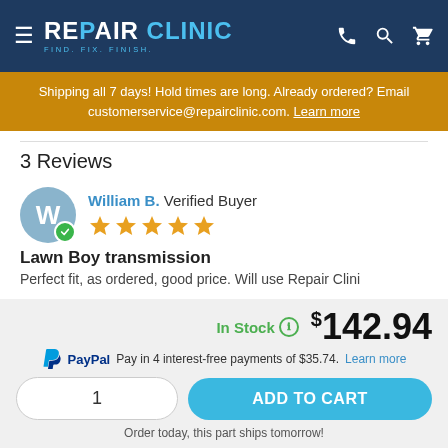REPAIR CLINIC — FIND. FIX. FINISH.
Shipping all 7 days! Hold times are long. Already ordered? Email customerservice@repairclinic.com. Learn more
3 Reviews
William B. Verified Buyer — 5 stars
Lawn Boy transmission
Perfect fit, as ordered, good price. Will use Repair Clinic
In Stock  $142.94
PayPal Pay in 4 interest-free payments of $35.74. Learn more
1  ADD TO CART
Order today, this part ships tomorrow!